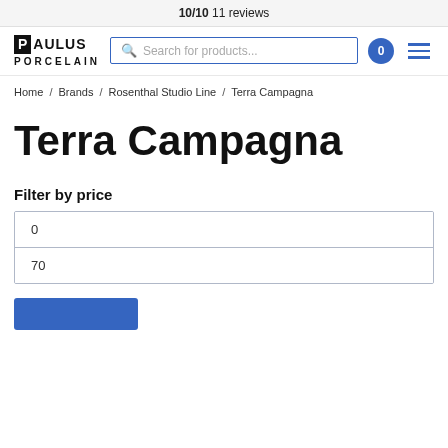10/10 11 reviews
[Figure (logo): Paulus Porcelain logo with black P box and bold text]
Search for products...
0
Home / Brands / Rosenthal Studio Line / Terra Campagna
Terra Campagna
Filter by price
| 0 |
| 70 |